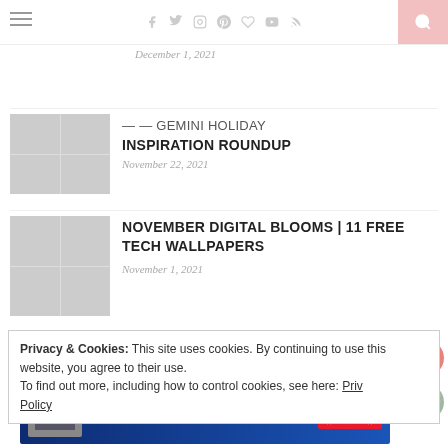FOR THE HOLIDAYS + MY 500TH POST! December 1, 2021
[Figure (photo): Collage of holiday-themed photos in a 2x2 grid]
GEMINI HOLIDAY INSPIRATION ROUNDUP
November 22, 2021
[Figure (photo): Collage of floral/botanical photos in a 2x2 grid - November Digital Blooms]
NOVEMBER DIGITAL BLOOMS | 11 FREE TECH WALLPAPERS
November 1, 2021
Privacy & Cookies: This site uses cookies. By continuing to use this website, you agree to their use.
To find out more, including how to control cookies, see here: Privacy Policy
[Figure (photo): Advertisement banner: GO BEYOND SAYING THANK YOU - Operation Gratitude JOIN US]